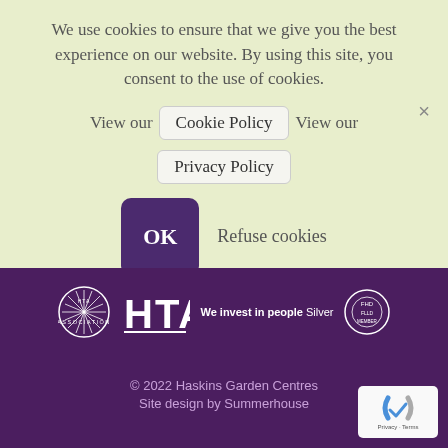We use cookies to ensure that we give you the best experience on our website. By using this site, you consent to the use of cookies.
View our  Cookie Policy  View our
Privacy Policy
OK  Refuse cookies
[Figure (logo): Footer with HTA Association logo, HTA text logo, We invest in people Silver badge, and another circular logo on purple background]
© 2022 Haskins Garden Centres
Site design by Summerhouse